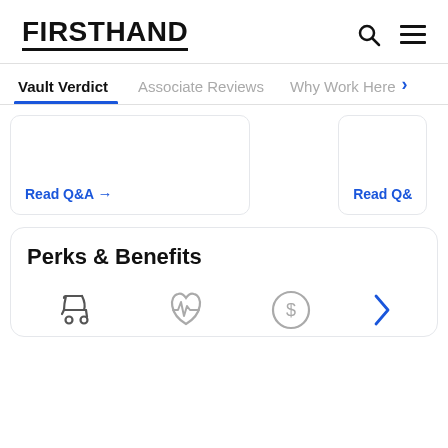FIRSTHAND
Vault Verdict | Associate Reviews | Why Work Here
Read Q&A →
Read Q&A
Perks & Benefits
[Figure (illustration): Baby stroller icon (Family & Wellbeing category)]
[Figure (illustration): Heart with pulse/heartbeat icon]
[Figure (illustration): Dollar sign in circle icon (Benefits)]
[Figure (illustration): Right arrow chevron icon]